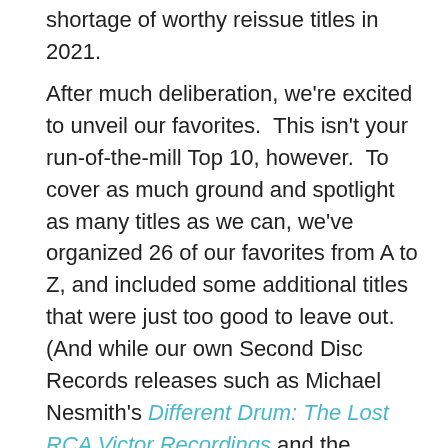shortage of worthy reissue titles in 2021.
After much deliberation, we're excited to unveil our favorites.  This isn't your run-of-the-mill Top 10, however.  To cover as much ground and spotlight as many titles as we can, we've organized 26 of our favorites from A to Z, and included some additional titles that were just too good to leave out.  (And while our own Second Disc Records releases such as Michael Nesmith's Different Drum: The Lost RCA Victor Recordings and the Toomorrowsoundtrack) were, of course, ineligible, we hope those made your own personal best-of lists!) It was a very good year across multiple genres: we've got rock, pop, jazz, soul, hip-hop, classical, soundtracks, musicals, and more here.